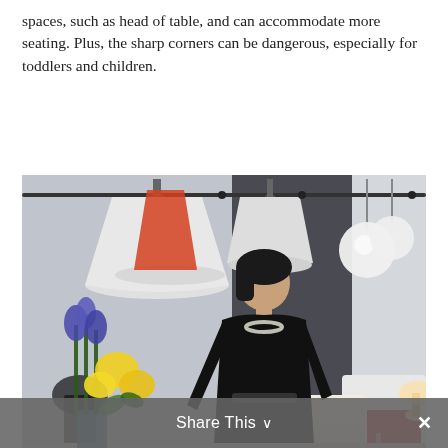spaces, such as head of table, and can accommodate more seating. Plus, the sharp corners can be dangerous, especially for toddlers and children.
[Figure (photo): A woman dressed in a black wrap dress with a pearl necklace stands in a modern furniture showroom. She poses next to a dining table set with white dishes, glassware, and flowers (yellow and blue/purple). Pendant lamps hang from the ceiling. The showroom displays modern furniture including chairs and sofas in the background.]
Share This ∨